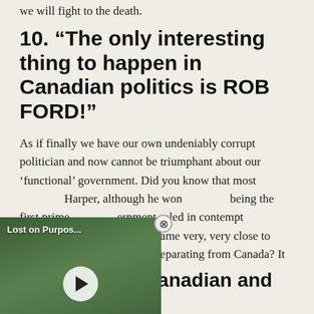we will fight to the death.
10. “The only interesting thing to happen in Canadian politics is ROB FORD!”
As if finally we have our own undeniably corrupt politician and now cannot be triumphant about our ‘functional’ government. Did you know that most … Harper, although he won … being the first prime … ernment ruled in contempt … e entire province of Quebec came very, very close to declaring independence and separating from Canada? It gets real up here.
[Figure (screenshot): Embedded video player showing a nature scene with trees and water, labeled 'Lost on Purpos...' with a play button in the center and a close (X) button in the top-left corner.]
11. “You’re a Canadian and you